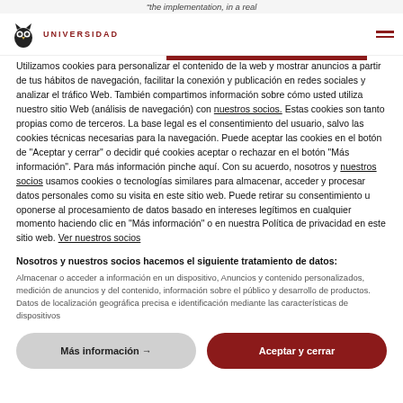"the implementation, in a real
[Figure (logo): Universidad logo with owl icon and red UNIVERSIDAD text]
Utilizamos cookies para personalizar el contenido de la web y mostrar anuncios a partir de tus hábitos de navegación, facilitar la conexión y publicación en redes sociales y analizar el tráfico Web. También compartimos información sobre cómo usted utiliza nuestro sitio Web (análisis de navegación) con nuestros socios. Estas cookies son tanto propias como de terceros. La base legal es el consentimiento del usuario, salvo las cookies técnicas necesarias para la navegación. Puede aceptar las cookies en el botón de "Aceptar y cerrar" o decidir qué cookies aceptar o rechazar en el botón "Más información". Para más información pinche aquí. Con su acuerdo, nosotros y nuestros socios usamos cookies o tecnologías similares para almacenar, acceder y procesar datos personales como su visita en este sitio web. Puede retirar su consentimiento u oponerse al procesamiento de datos basado en intereses legítimos en cualquier momento haciendo clic en "Más información" o en nuestra Política de privacidad en este sitio web. Ver nuestros socios
Nosotros y nuestros socios hacemos el siguiente tratamiento de datos:
Almacenar o acceder a información en un dispositivo, Anuncios y contenido personalizados, medición de anuncios y del contenido, información sobre el público y desarrollo de productos. Datos de localización geográfica precisa e identificación mediante las características de dispositivos
Más información →
Aceptar y cerrar